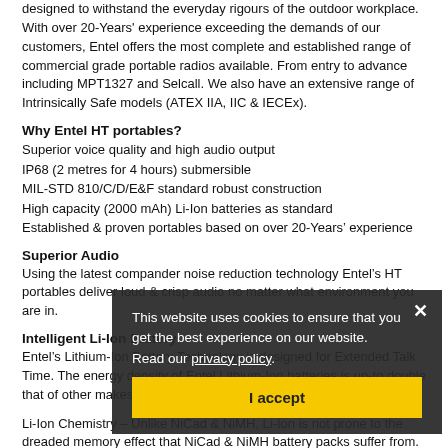designed to withstand the everyday rigours of the outdoor workplace. With over 20-Years' experience exceeding the demands of our customers, Entel offers the most complete and established range of commercial grade portable radios available. From entry to advance including MPT1327 and Selcall. We also have an extensive range of Intrinsically Safe models (ATEX IIA, IIC & IECEx).
Why Entel HT portables?
Superior voice quality and high audio output
IP68 (2 metres for 4 hours) submersible
MIL-STD 810/C/D/E&F standard robust construction
High capacity (2000 mAh) Li-Ion batteries as standard
Established & proven portables based on over 20-Years' experience
Superior Audio
Using the latest compander noise reduction technology Entel's HT portables deliver loud & crisp audio no matter what environment you are in.
Intelligent Li-Ion Battery
Entel's Lithium-Ion Battery Technology is designed for Extended Talk Time. The energy density of Entel Lithium-Ion batteries is up-to double that of other makes, therefore ensuring maximum talk-time.
Li-Ion Chemistry – Unlike NiCad & NiMH, Li-Ion is not prone to the dreaded memory effect that NiCad & NiMH battery packs suffer from. This ensures you always have a good charge every time you take the battery from its charger.
This website uses cookies to ensure that you get the best experience on our website. Read our privacy policy.
I accept